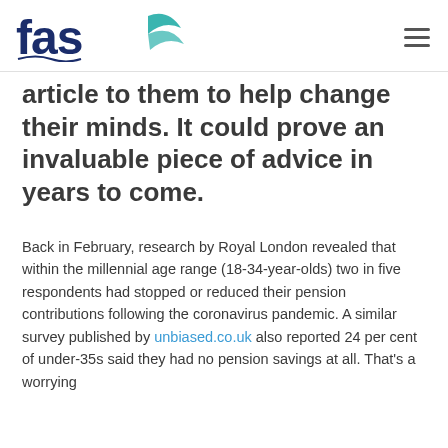fas financial advice & services
article to them to help change their minds. It could prove an invaluable piece of advice in years to come.
Back in February, research by Royal London revealed that within the millennial age range (18-34-year-olds) two in five respondents had stopped or reduced their pension contributions following the coronavirus pandemic. A similar survey published by unbiased.co.uk also reported 24 per cent of under-35s said they had no pension savings at all. That's a worrying